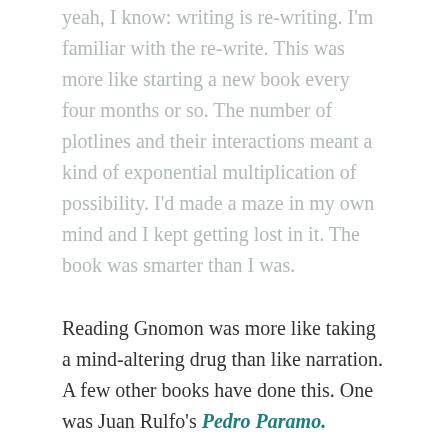yeah, I know: writing is re-writing. I'm familiar with the re-write. This was more like starting a new book every four months or so. The number of plotlines and their interactions meant a kind of exponential multiplication of possibility. I'd made a maze in my own mind and I kept getting lost in it. The book was smarter than I was.
Reading Gnomon was more like taking a mind-altering drug than like narration. A few other books have done this. One was Juan Rulfo's Pedro Paramo.
Another was A U Latif's Songs from the Laughing Tree (currently out of print). In a review of Latif's book I wrote